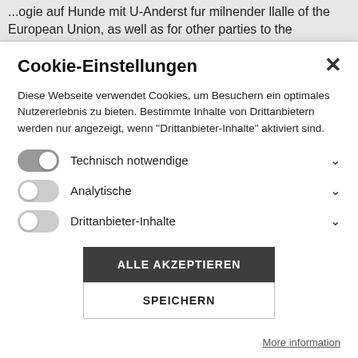...ogie auf Hunde mit U-Anderst fur milnender llalle of the European Union, as well as for other parties to the
Cookie-Einstellungen
Diese Webseite verwendet Cookies, um Besuchern ein optimales Nutzererlebnis zu bieten. Bestimmte Inhalte von Drittanbietern werden nur angezeigt, wenn "Drittanbieter-Inhalte" aktiviert sind.
Technisch notwendige
Analytische
Drittanbieter-Inhalte
ALLE AKZEPTIEREN
SPEICHERN
More information